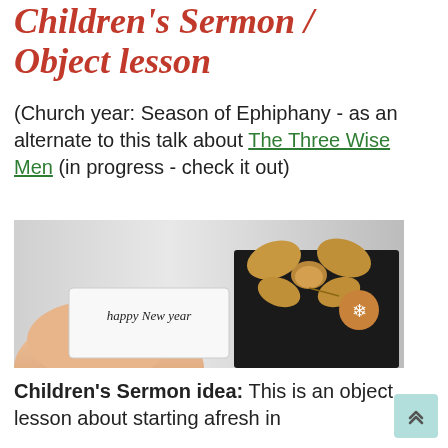Children's Sermon / Object lesson
(Church year: Season of Ephiphany - as an alternate to this talk about The Three Wise Men (in progress - check it out)
[Figure (photo): A hand holding a card that reads 'happy New year' next to a dark gift box with a burlap bow and a round snowflake tag]
Children's Sermon idea: This is an object lesson about starting afresh in